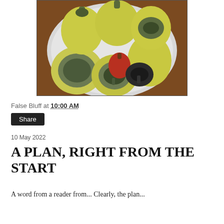[Figure (photo): A white plate on a wooden table holding several yellow-green bell peppers (some hollowed out showing dark interiors), one small red pepper, and what appears to be one dark/black pepper.]
False Bluff at 10:00 AM
Share
10 May 2022
A PLAN, RIGHT FROM THE START
A word from a reader from...Clearly, the plan...